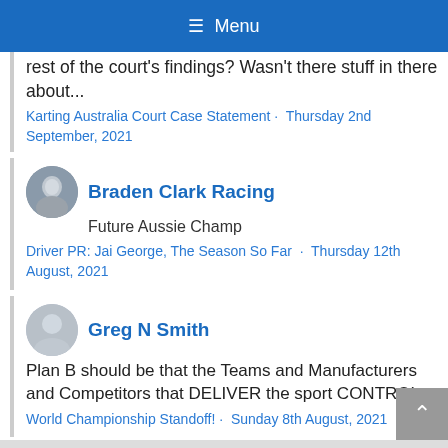≡ Menu
rest of the court's findings? Wasn't there stuff in there about...
Karting Australia Court Case Statement · Thursday 2nd September, 2021
Braden Clark Racing
Future Aussie Champ
Driver PR: Jai George, The Season So Far · Thursday 12th August, 2021
Greg N Smith
Plan B should be that the Teams and Manufacturers and Competitors that DELIVER the sport CONTROL...
World Championship Standoff! · Sunday 8th August, 2021